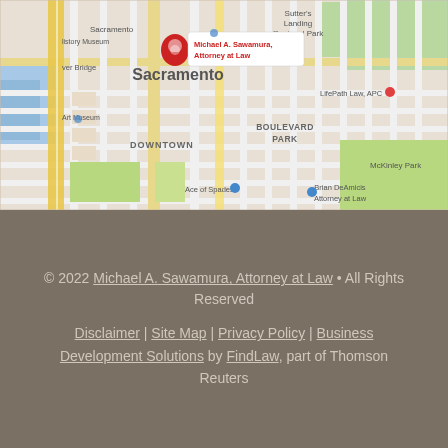[Figure (map): Google map showing downtown Sacramento with a red pin marker for Michael A. Sawamura, Attorney at Law office location near 16th St. Surrounding landmarks include Sacramento History Museum, LifePath Law APC, Brian DeAmicis Attorney at Law, Ace of Spades, McKinley Park, Sutter's Landing Regional Park, Boulevard Park, and Downtown area.]
© 2022 Michael A. Sawamura, Attorney at Law • All Rights Reserved
Disclaimer | Site Map | Privacy Policy | Business Development Solutions by FindLaw, part of Thomson Reuters